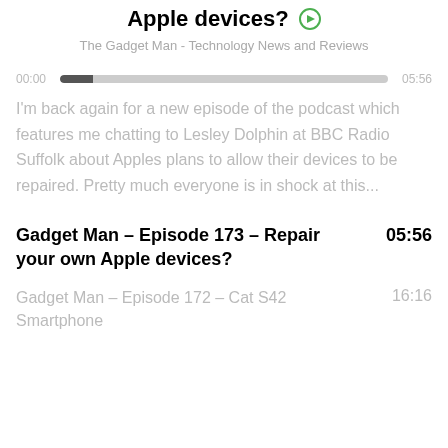Apple devices?
The Gadget Man - Technology News and Reviews
[Figure (other): Audio player progress bar showing 00:00 on left and 05:56 on right, with a dark filled portion at the start of a light gray track bar]
I'm back again for a new episode of the podcast which features me chatting to Lesley Dolphin at BBC Radio Suffolk about Apples plans to allow their devices to be repaired. Pretty much everyone is in shock at this...
Gadget Man – Episode 173 – Repair your own Apple devices?    05:56
Gadget Man – Episode 172 – Cat S42 Smartphone    16:16